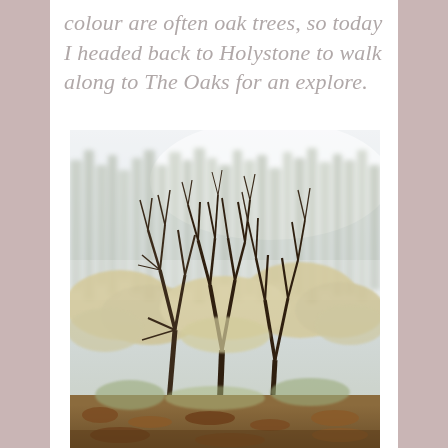colour are often oak trees, so today I headed back to Holystone to walk along to The Oaks for an explore.
[Figure (photo): Misty autumn woodland scene with bare deciduous trees in the foreground showing light golden-cream foliage and dark branches, with a forest of conifers fading into fog in the background. Brown leaf litter covers the ground.]